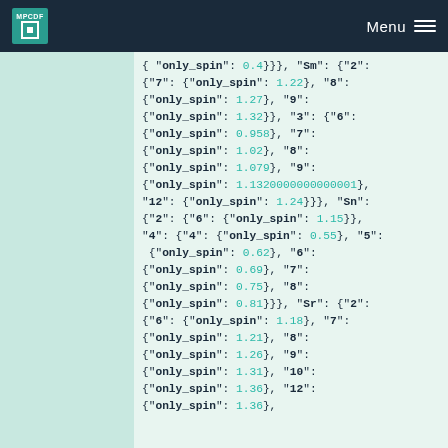MPCDF | Menu
{"only_spin": 0.4}}}, "Sm": {"2": {"7": {"only_spin": 1.22}, "8": {"only_spin": 1.27}, "9": {"only_spin": 1.32}}, "3": {"6": {"only_spin": 0.958}, "7": {"only_spin": 1.02}, "8": {"only_spin": 1.079}, "9": {"only_spin": 1.1320000000000001}, "12": {"only_spin": 1.24}}}, "Sn": {"2": {"6": {"only_spin": 1.15}}, "4": {"4": {"only_spin": 0.55}, "5": {"only_spin": 0.62}, "6": {"only_spin": 0.69}, "7": {"only_spin": 0.75}, "8": {"only_spin": 0.81}}}, "Sr": {"2": {"6": {"only_spin": 1.18}, "7": {"only_spin": 1.21}, "8": {"only_spin": 1.26}, "9": {"only_spin": 1.31}, "10": {"only_spin": 1.36}, "12":